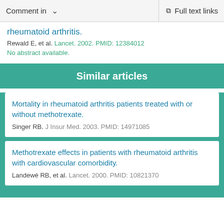Comment in    Full text links
rheumatoid arthritis.
Rewald E, et al. Lancet. 2002. PMID: 12384012
No abstract available.
Similar articles
Mortality in rheumatoid arthritis patients treated with or without methotrexate.
Singer RB. J Insur Med. 2003. PMID: 14971085
Methotrexate effects in patients with rheumatoid arthritis with cardiovascular comorbidity.
Landewé RB, et al. Lancet. 2000. PMID: 10821370